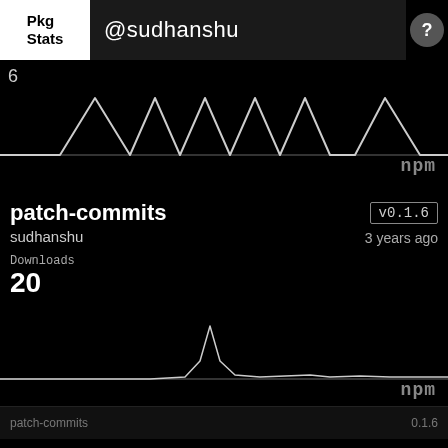Pkg Stats | @sudhanshu | ?
[Figure (line-chart): Line chart showing commit activity with value 6, showing a sawtooth wave pattern across the timeline]
npm
patch-commits
v0.1.6
sudhanshu
3 years ago
Downloads
20
[Figure (line-chart): Line chart showing download activity with a single spike peak in the middle area, value 20]
npm
patch-commits · 0.1.6